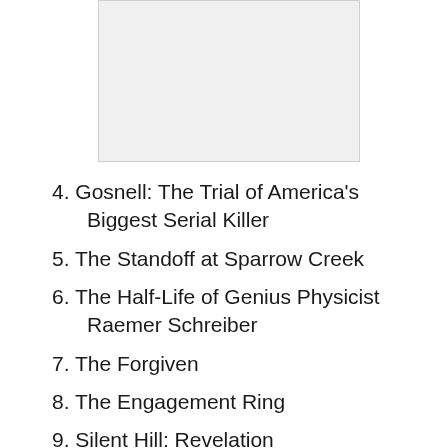[Figure (other): Gray rectangular image placeholder area at top of page]
4. Gosnell: The Trial of America's Biggest Serial Killer
5. The Standoff at Sparrow Creek
6. The Half-Life of Genius Physicist Raemer Schreiber
7. The Forgiven
8. The Engagement Ring
9. Silent Hill: Revelation